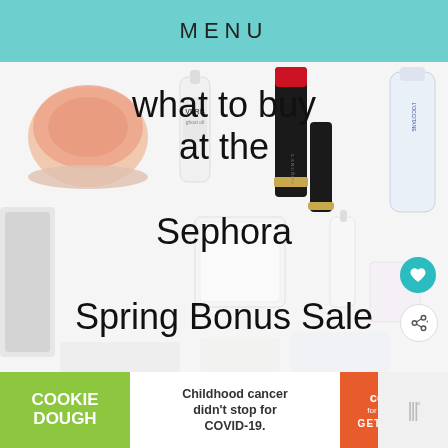MENU
[Figure (photo): Collage of beauty products including lipstick (Lancôme), blush pot, VERB hair serum spray bottle, loose powder compact, and L'Occitane cream overlaid with large text reading 'what to buy at the Sephora Spring Bonus Sale']
what to buy at the Sephora Spring Bonus Sale
[Figure (infographic): Advertisement banner for Cookie Dough / Cookies for Kids Cancer: green left panel with 'COOKIE DOUGH' text, middle panel with 'Childhood cancer didn't stop for COVID-19.', orange right panel with cookies logo and 'GET BAKING']